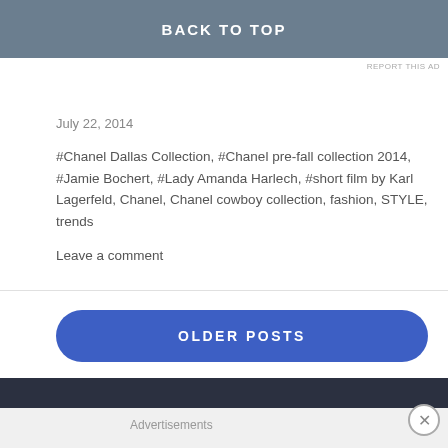BACK TO TOP
REPORT THIS AD
July 22, 2014
#Chanel Dallas Collection, #Chanel pre-fall collection 2014, #Jamie Bochert, #Lady Amanda Harlech, #short film by Karl Lagerfeld, Chanel, Chanel cowboy collection, fashion, STYLE, trends
Leave a comment
OLDER POSTS
Advertisements